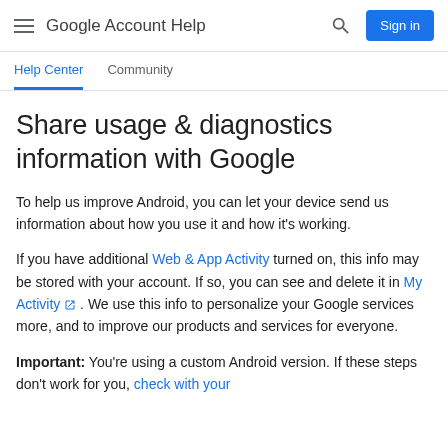Google Account Help
Help Center | Community
Share usage & diagnostics information with Google
To help us improve Android, you can let your device send us information about how you use it and how it's working.
If you have additional Web & App Activity turned on, this info may be stored with your account. If so, you can see and delete it in My Activity. We use this info to personalize your Google services more, and to improve our products and services for everyone.
Important: You're using a custom Android version. If these steps don't work for you, check with your